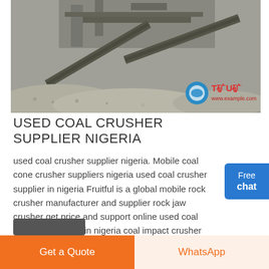[Figure (photo): Industrial coal crushing equipment / machinery at a mining or processing site, with piles of crushed rock/aggregate in the foreground. A company logo and Chinese text watermark visible in lower right.]
USED COAL CRUSHER SUPPLIER NIGERIA
used coal crusher supplier nigeria. Mobile coal cone crusher suppliers nigeria used coal crusher supplier in nigeria Fruitful is a global mobile rock crusher manufacturer and supplier rock jaw crusher get price and support online used coal crusher suppliers in nigeria coal impact crusher repair in nigeriaused iron, china.Live chat mongolia coal crushing process equipment nigeria.